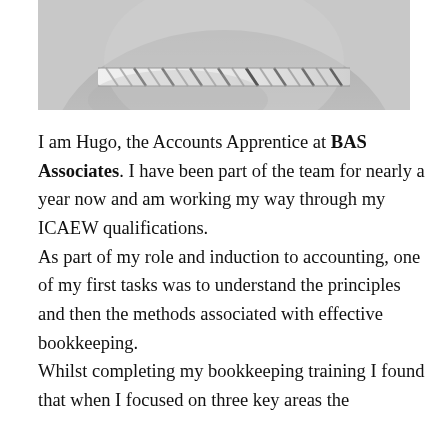[Figure (photo): Black and white photograph cropped to show the top portion of a wide-brimmed hat with a patterned band, likely a cowboy or fedora style hat.]
I am Hugo, the Accounts Apprentice at BAS Associates. I have been part of the team for nearly a year now and am working my way through my ICAEW qualifications.
As part of my role and induction to accounting, one of my first tasks was to understand the principles and then the methods associated with effective bookkeeping.
Whilst completing my bookkeeping training I found that when I focused on three key areas the